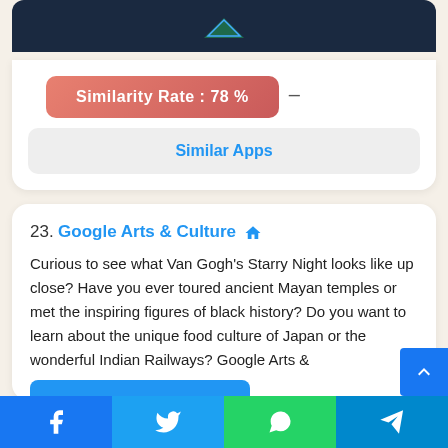[Figure (screenshot): Dark navy header strip of an app card]
Similarity Rate : 78 %
Similar Apps
23. Google Arts & Culture
Curious to see what Van Gogh's Starry Night looks like up close? Have you ever toured ancient Mayan temples or met the inspiring figures of black history? Do you want to learn about the unique food culture of Japan or the wonderful Indian Railways? Google Arts &
[Figure (screenshot): Social share bar with Facebook, Twitter, WhatsApp, Telegram icons]